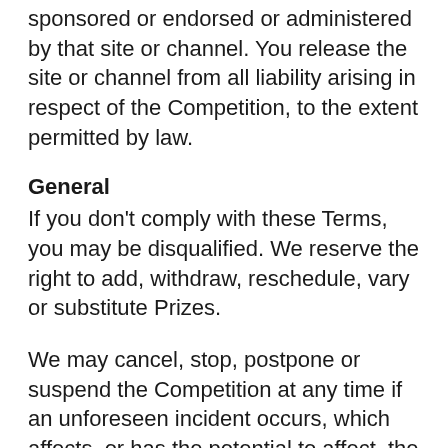sponsored or endorsed or administered by that site or channel. You release the site or channel from all liability arising in respect of the Competition, to the extent permitted by law.
General
If you don't comply with these Terms, you may be disqualified. We reserve the right to add, withdraw, reschedule, vary or substitute Prizes.
We may cancel, stop, postpone or suspend the Competition at any time if an unforeseen incident occurs, which affects, or has the potential to affect, the safety, integrity or fairness of the Competition, or if the Competition is otherwise not able to be run as planned (including computer virus, communications network failure, bugs, tampering, unauthorised intervention, fraud, or other technical failure or withdrawal by a Sponsor). If the Competition is cancelled, suspended or stopped partway through, we may, but are not obliged to,